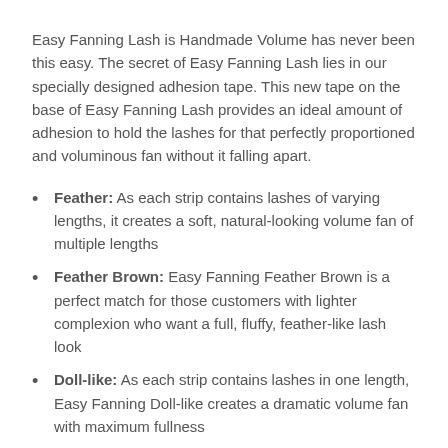Easy Fanning Lash is Handmade Volume has never been this easy. The secret of Easy Fanning Lash lies in our specially designed adhesion tape. This new tape on the base of Easy Fanning Lash provides an ideal amount of adhesion to hold the lashes for that perfectly proportioned and voluminous fan without it falling apart.
Feather: As each strip contains lashes of varying lengths, it creates a soft, natural-looking volume fan of multiple lengths
Feather Brown: Easy Fanning Feather Brown is a perfect match for those customers with lighter complexion who want a full, fluffy, feather-like lash look
Doll-like: As each strip contains lashes in one length, Easy Fanning Doll-like creates a dramatic volume fan with maximum fullness
Feather: Each strip contains lashes of varying lengths